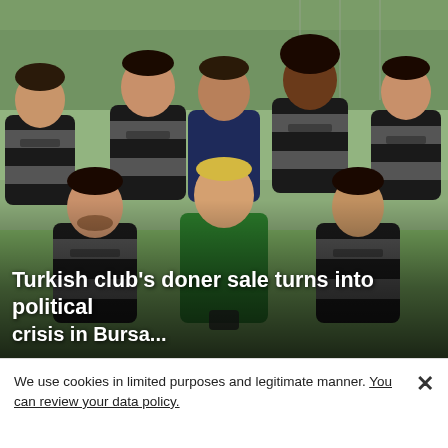[Figure (photo): Team photo of a football club with players wearing black and grey striped jerseys with 'HOS BILAL' sponsor. Back row has 4 players plus a coach in navy blue jacket. Front row has 3 players including a goalkeeper in green. Photo taken outdoors on a football pitch.]
Turkish club's doner sale turns into political
We use cookies in limited purposes and legitimate manner. You can review your data policy.